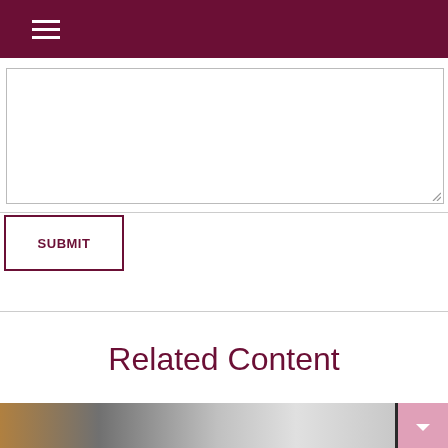Navigation menu header bar
[Figure (screenshot): Empty text area input field with resize handle at bottom right]
[Figure (screenshot): SUBMIT button with dark red border and text]
Related Content
[Figure (photo): Partial photo of a tablet device with a hand, bottom of page]